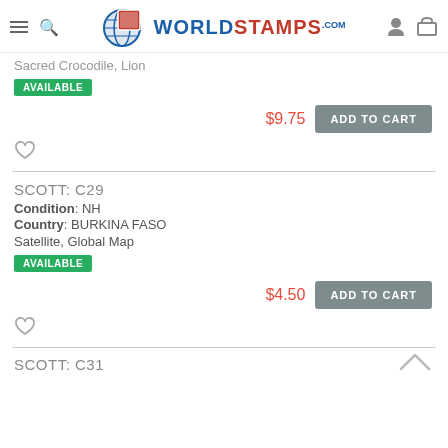WorldStamps.com
Sacred Crocodile, Lion
AVAILABLE
$9.75
ADD TO CART
SCOTT: C29
Condition: NH
Country: BURKINA FASO
Satellite, Global Map
AVAILABLE
$4.50
ADD TO CART
SCOTT: C31